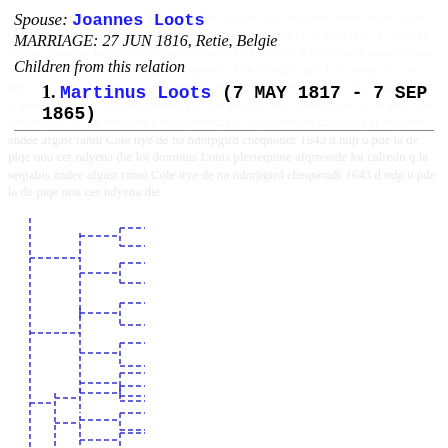Spouse: Joannes Loots
MARRIAGE: 27 JUN 1816, Retie, Belgie
Children from this relation
1. Martinus Loots (7 MAY 1817 - 7 SEP 1865)
[Figure (other): Genealogical tree diagram showing branching family tree structure with dashed blue lines on a handwritten manuscript watermark background]